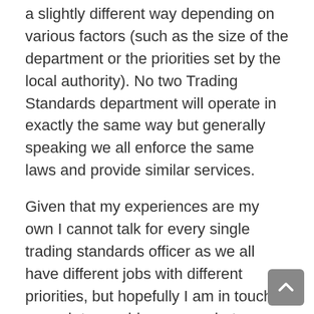a slightly different way depending on various factors (such as the size of the department or the priorities set by the local authority). No two Trading Standards department will operate in exactly the same way but generally speaking we all enforce the same laws and provide similar services.
Given that my experiences are my own I cannot talk for every single trading standards officer as we all have different jobs with different priorities, but hopefully I am in touch enough to provide a somewhat representative view for our profession.
If you are involved in trading standards/consumer protection work and would like to write a guest article please do contact me.
In the interests of protecting my job and being able to talk openly I will of course be blogging anonymously.